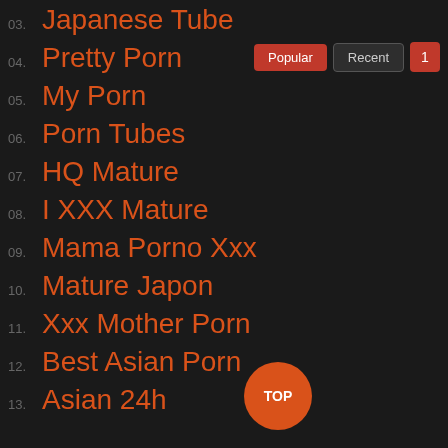03. Japanese Tube
04. Pretty Porn
05. My Porn
06. Porn Tubes
07. HQ Mature
08. I XXX Mature
09. Mama Porno Xxx
10. Mature Japon
11. Xxx Mother Porn
12. Best Asian Porn
13. Asian 24h